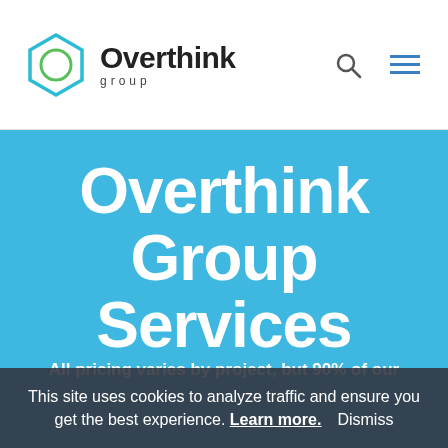[Figure (logo): Overthink Group logo — hexagon outline in teal/blue with green circle inside, beside bold text 'Overthink' and smaller spaced text 'group']
Overthink group (navigation bar with search and menu icons)
Overthink Group Services
All pricing varies by project, but 90% of our
This site uses cookies to analyze traffic and ensure you get the best experience. Learn more. Dismiss